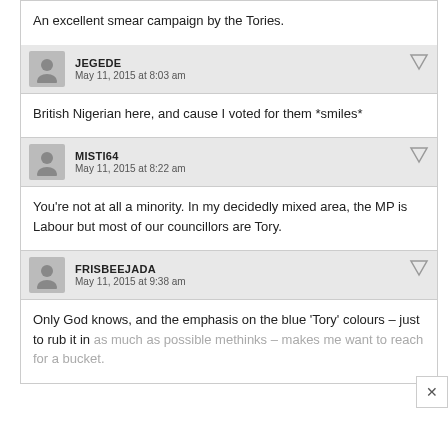An excellent smear campaign by the Tories.
JEGEDE
May 11, 2015 at 8:03 am
British Nigerian here, and cause I voted for them *smiles*
MISTI64
May 11, 2015 at 8:22 am
You're not at all a minority. In my decidedly mixed area, the MP is Labour but most of our councillors are Tory.
FRISBEEJADA
May 11, 2015 at 9:38 am
Only God knows, and the emphasis on the blue 'Tory' colours – just to rub it in as much as possible methinks – makes me want to reach for a bucket.